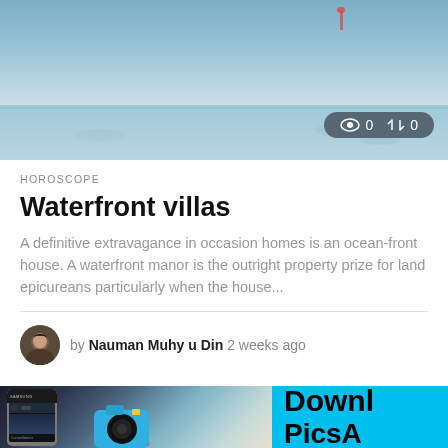[Figure (photo): Waterfront lake/ocean scene with calm water and light reflections, viewed from above]
👁 0  ↑↓ 0
HOROSCOPE
Waterfront villas
A definitive extravagance in occasion homes is an ocean-front house. A waterfront manor is the outright property prize for land epicureans particularly when the house...
by Nauman Muhy u Din 2 weeks ago
[Figure (photo): Advertisement banner showing a Samsung smartphone and a photo editing app camera icon on the left, and cyan background with 'Downl' and 'PicsA' text on the right (cropped)]